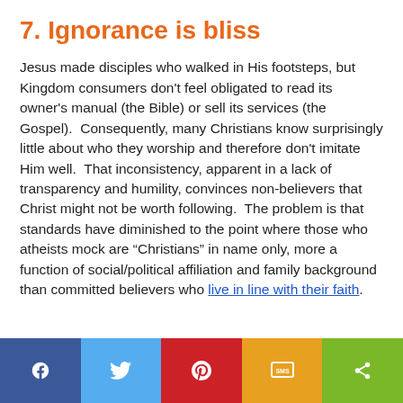7. Ignorance is bliss
Jesus made disciples who walked in His footsteps, but Kingdom consumers don't feel obligated to read its owner's manual (the Bible) or sell its services (the Gospel).  Consequently, many Christians know surprisingly little about who they worship and therefore don't imitate Him well.  That inconsistency, apparent in a lack of transparency and humility, convinces non-believers that Christ might not be worth following.  The problem is that standards have diminished to the point where those who atheists mock are “Christians” in name only, more a function of social/political affiliation and family background than committed believers who live in line with their faith.
[Figure (infographic): Social sharing bar with Facebook, Twitter, Pinterest, SMS, and share buttons in blue, light blue, red, orange, and green respectively.]